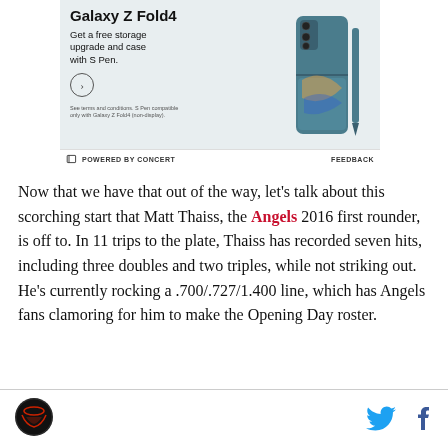[Figure (advertisement): Samsung Galaxy Z Fold4 advertisement showing the phone with S Pen, teal/green color, with text 'Get a free storage upgrade and case with S Pen.']
POWERED BY CONCERT   FEEDBACK
Now that we have that out of the way, let's talk about this scorching start that Matt Thaiss, the Angels 2016 first rounder, is off to. In 11 trips to the plate, Thaiss has recorded seven hits, including three doubles and two triples, while not striking out. He's currently rocking a .700/.727/1.400 line, which has Angels fans clamoring for him to make the Opening Day roster.
[Figure (logo): Halo way logo circle with red icon]
[Figure (other): Twitter bird icon in cyan and Facebook f icon in dark blue]